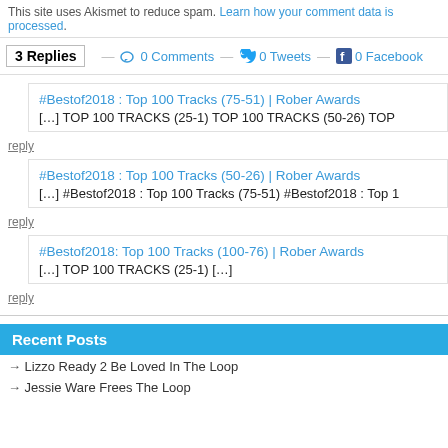This site uses Akismet to reduce spam. Learn how your comment data is processed.
3 Replies — 0 Comments — 0 Tweets — 0 Facebook
#Bestof2018 : Top 100 Tracks (75-51) | Rober Awards
[…] TOP 100 TRACKS (25-1) TOP 100 TRACKS (50-26) TOP
reply
#Bestof2018 : Top 100 Tracks (50-26) | Rober Awards
[…] #Bestof2018 : Top 100 Tracks (75-51) #Bestof2018 : Top 1
reply
#Bestof2018: Top 100 Tracks (100-76) | Rober Awards
[…] TOP 100 TRACKS (25-1) […]
reply
Recent Posts
→ Lizzo Ready 2 Be Loved In The Loop
→ Jessie Ware Frees The Loop